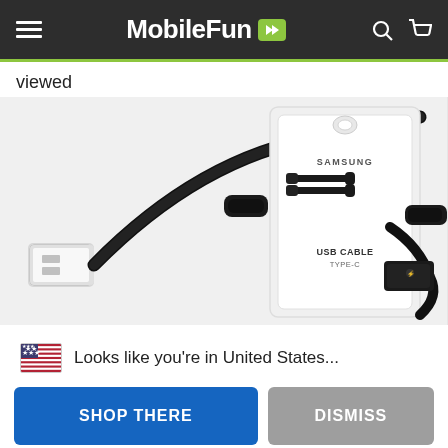MobileFun
viewed
[Figure (photo): Two USB Type-C cable products: a standalone black USB-A to USB-C cable on the left, and a Samsung branded USB Cable Type-C in retail packaging on the right with cable ends visible]
🇺🇸  Looks like you're in United States...
SHOP THERE
DISMISS